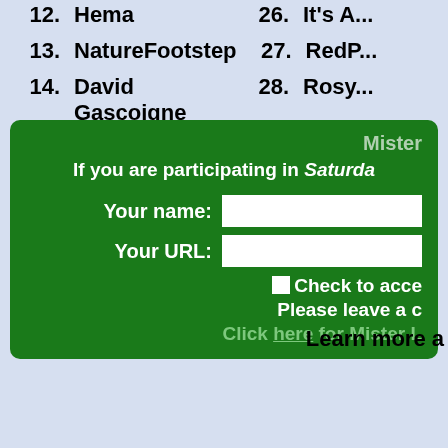12.  Hema                                    26.  It's A...
13.  NatureFootstep                          27.  RedP...
14.  David Gascoigne                         28.  Rosy...
[Figure (screenshot): Green rounded box containing a web form with fields for Your name and Your URL, a checkbox to accept, a message to leave a comment, and a link. Title reads Mister, subtitle reads If you are participating in Saturda...]
Learn more a...